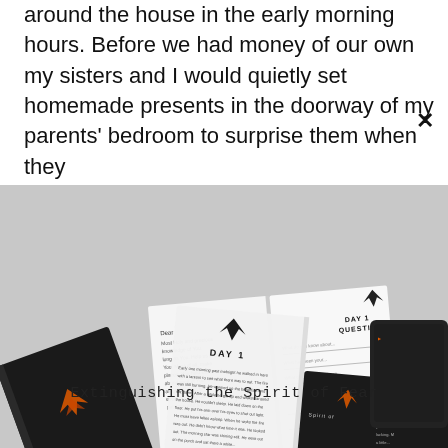around the house in the early morning hours. Before we had money of our own my sisters and I would quietly set homemade presents in the doorway of my parents' bedroom to surprise them when they
[Figure (photo): Book mockup showing multiple copies and open pages of 'Extinguishing the Spirit of Fear' book, displayed on a gray surface. The open book shows pages with 'DAY 1', 'DAY 1 QUESTIONS', and 'PRAYER' sections. Dark covered books with orange accents and an eagle graphic are visible.]
Extinguishing the Spirit of Fear